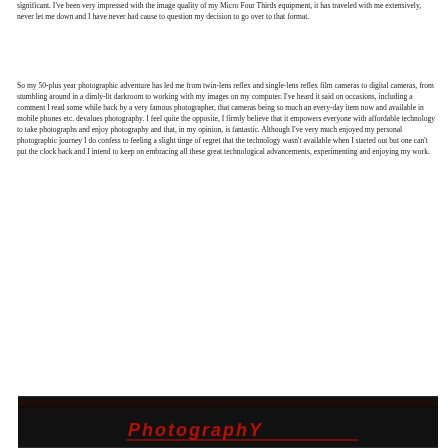significant. I've been very impressed with the image quality of my Micro Four Thirds equipment, it has traveled with me extensively, never let me down and I have never had cause to question my decision to go over to that format.
So my 50-plus year photographic adventure has led me from twin-lens reflex and single-lens reflex film cameras to digital cameras, from stumbling around in a dimly-lit darkroom to working with my images on my computer. I've heard it said on occasions, including a comment I read some while back by a very famous photographer, that cameras being so much an every-day item now and available in mobile phones etc. devalues photography. I feel quite the opposite, I firmly believe that it empowers everyone with affordable technology to take photographs and enjoy photography and that, in my opinion, is fantastic. Although I've very much enjoyed my personal photographic journey I do confess to feeling a slight tinge of regret that the technology wasn't available when I started out but one can't put the clock back and I intend to keep on embracing all these great technological advancements, experimenting and enjoying my work.
[Figure (photo): Dark photograph with red stylized text/logo at bottom, appears to be a photography-related title or caption strip]